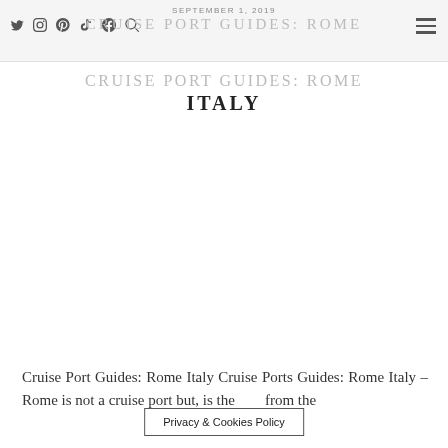SEPTEMBER 1, 2019
CRUISE PORT GUIDES: ROME ITALY
[Figure (photo): White/blank image area below the title, representing a featured photo placeholder for the cruise port guide article.]
Cruise Port Guides: Rome Italy Cruise Ports Guides: Rome Italy – Rome is not a cruise port but, is the … from the
Privacy & Cookies Policy